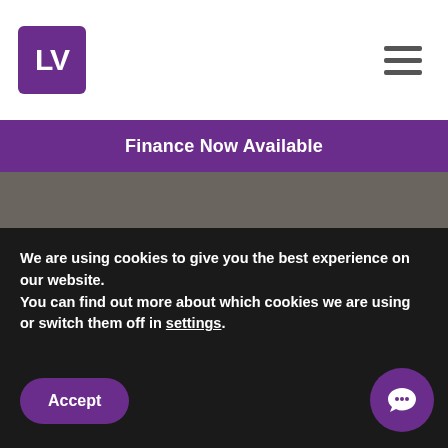[Figure (logo): LV= laser vision logo in purple square]
[Figure (other): Hamburger menu icon]
Finance Now Available
0800 024 8888
info@laservision.co.uk
[Figure (logo): Nuffield Health logo]
[Figure (logo): Spire Healthcare logo]
[Figure (logo): Surrey Eye Surgeons logo]
[Figure (logo): BMI Healthcare logo]
We are using cookies to give you the best experience on our website.
You can find out more about which cookies we are using or switch them off in settings.
Accept